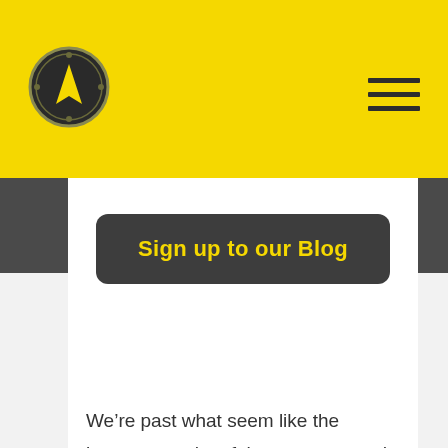[Figure (logo): Compass logo in a dark circle with yellow arrow, on yellow header background]
Sign up to our Blog
We're past what seem like the longest months of the year now and should hopefully be emerging from the winter blues. This is a perfect time to give yourself a financial check up. Especially as you only have one month until the end of the tax year to use up your allowances. Whether